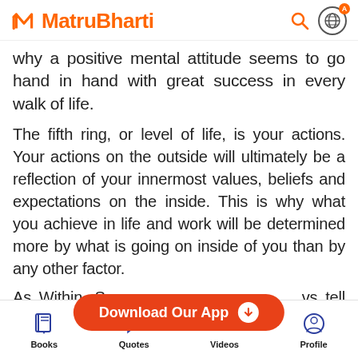MatruBharti
why a positive mental attitude seems to go hand in hand with great success in every walk of life.
The fifth ring, or level of life, is your actions. Your actions on the outside will ultimately be a reflection of your innermost values, beliefs and expectations on the inside. This is why what you achieve in life and work will be determined more by what is going on inside of you than by any other factor.
As Within, So Without... always tell how a person thinks... looking at the
[Figure (screenshot): Download Our App button - orange rounded rectangle with white text and download arrow icon]
[Figure (screenshot): Bottom navigation bar with Books, Quotes, Videos, Profile icons in blue]